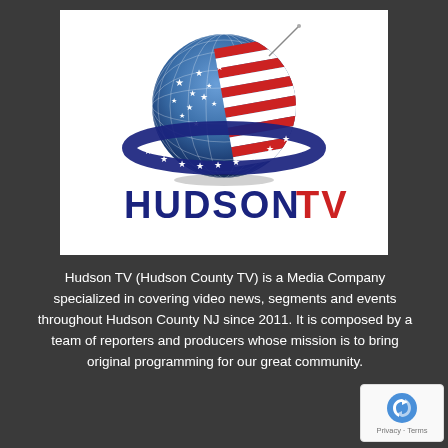[Figure (logo): Hudson TV logo: a globe with American flag design (stars and red/white stripes) surrounded by a dark blue orbital ring with a satellite antenna. Below the globe, bold text reads HUDSON in dark navy blue and TV in red.]
Hudson TV (Hudson County TV) is a Media Company specialized in covering video news, segments and events throughout Hudson County NJ since 2011. It is composed by a team of reporters and producers whose mission is to bring original programming for our great community.